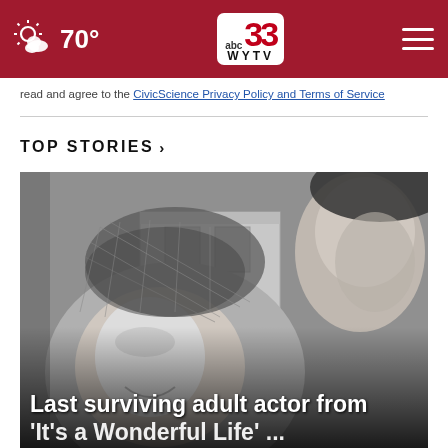70° — ABC 33 WYTV
read and agree to the CivicScience Privacy Policy and Terms of Service
TOP STORIES ›
[Figure (photo): Black and white photo of a smiling woman wearing a net hat/headpiece looking at a man on the right side. Background shows a building. Headline overlaid at bottom: 'Last surviving adult actor from']
Last surviving adult actor from 'It's a Wonderful Life' ...